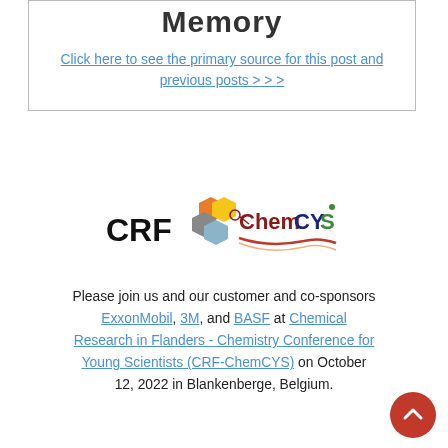Memory
Click here to see the primary source for this post and previous posts > > >
[Figure (logo): CRF and ChemCYS logos side by side]
Please join us and our customer and co-sponsors ExxonMobil, 3M, and BASF at Chemical Research in Flanders - Chemistry Conference for Young Scientists (CRF-ChemCYS) on October 12, 2022 in Blankenberge, Belgium.